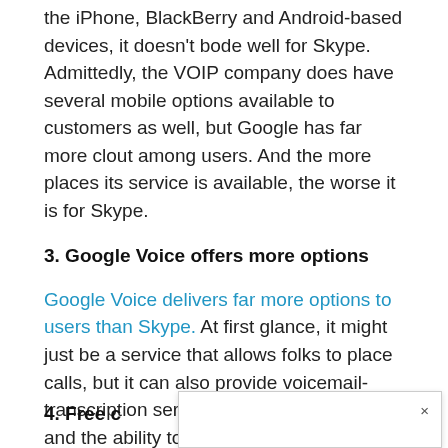the iPhone, BlackBerry and Android-based devices, it doesn't bode well for Skype. Admittedly, the VOIP company does have several mobile options available to customers as well, but Google has far more clout among users. And the more places its service is available, the worse it is for Skype.
3. Google Voice offers more options
Google Voice delivers far more options to users than Skype. At first glance, it might just be a service that allows folks to place calls, but it can also provide voicemail-transcription service, free text messages and the ability to work on several phones with a single number. Gmail phone integration isn't that advanced, but if it gets users thinking about Google Voice, the search giant will already find itself in the lead.
4. Free c